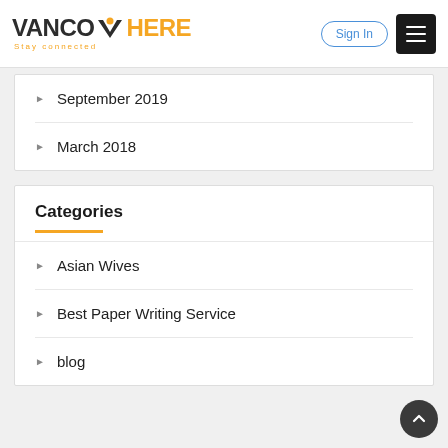VANCOWHERE Stay connected | Sign In | Menu
September 2019
March 2018
Categories
Asian Wives
Best Paper Writing Service
blog